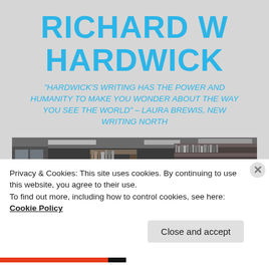RICHARD W HARDWICK
"HARDWICK'S WRITING HAS THE POWER AND HUMANITY TO MAKE YOU WONDER ABOUT THE WAY YOU SEE THE WORLD" – LAURA BREWIS, NEW WRITING NORTH
[Figure (photo): Black and white overhead photo of a library or bookshop interior with bookshelves and people browsing]
Privacy & Cookies: This site uses cookies. By continuing to use this website, you agree to their use.
To find out more, including how to control cookies, see here: Cookie Policy
Close and accept